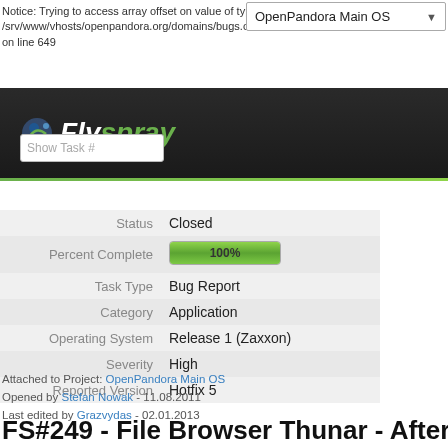Notice: Trying to access array offset on value of typ /srv/www/vhosts/openpandora.org/domains/bugs.o on line 649
[Figure (screenshot): Dropdown selector showing 'OpenPandora Main OS']
[Figure (logo): Flyspray logo in header bar with dark background and green accent line]
| Field | Value |
| --- | --- |
| Status | Closed |
| Percent Complete | 100% |
| Task Type | Bug Report |
| Category | Application |
| Operating System | Release 1 (Zaxxon) |
| Severity | High |
| Reported Version | Hotfix 5 |
Attached to Project: OpenPandora Main OS
Opened by Stefan Nowak - 11.08.2011
Last edited by Grazvydas - 02.01.2013
FS#249 - File Browser Thunar - After 2